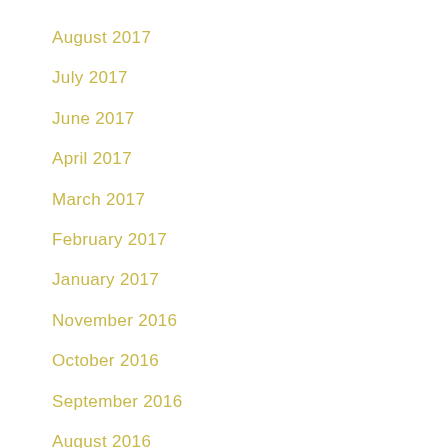August 2017
July 2017
June 2017
April 2017
March 2017
February 2017
January 2017
November 2016
October 2016
September 2016
August 2016